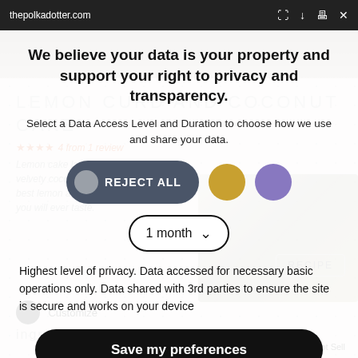thepolkadotter.com
We believe your data is your property and support your right to privacy and transparency.
Select a Data Access Level and Duration to choose how we use and share your data.
REJECT ALL (button) | 1 month (dropdown)
Highest level of privacy. Data accessed for necessary basic operations only. Data shared with 3rd parties to ensure the site is secure and works on your device
Save my preferences
Privacy policy | Do Not Sell